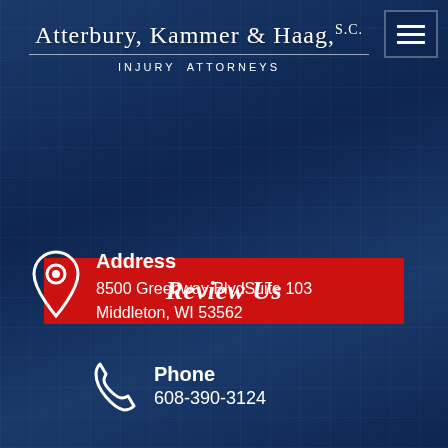Atterbury, Kammer & Haag, S.C. — Injury Attorneys
[Figure (logo): Hamburger/navigation menu icon in dark navy square in top-right corner]
Review Us
Address
8500 Greenway BlvdSuite 103
Middleton, WI 53562
Phone
608-390-3124